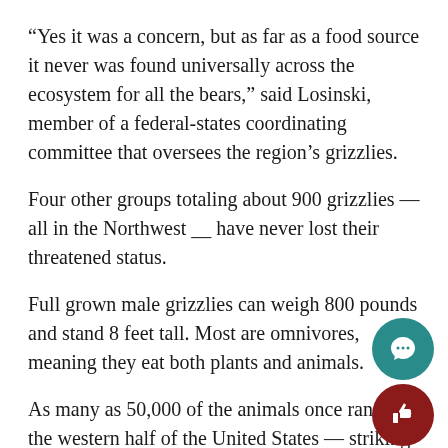“Yes it was a concern, but as far as a food source it never was found universally across the ecosystem for all the bears,” said Losinski, member of a federal-states coordinating committee that oversees the region’s grizzlies.
Four other groups totaling about 900 grizzlies — all in the Northwest __ have never lost their threatened status.
Full grown male grizzlies can weigh 800 pounds and stand 8 feet tall. Most are omnivores, meaning they eat both plants and animals.
As many as 50,000 of the animals once ranged the western half of the United States — striking terror in early European settlers who routinely shot, poisoned and trapped grizzlies until they were reduced to less than 2 percent of their historic range.